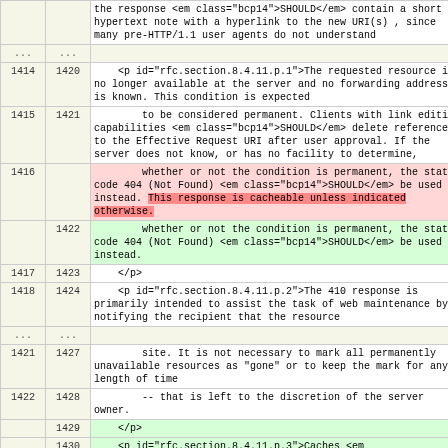|  |  | content |
| --- | --- | --- |
|  |  | the response <em class="bcp14">SHOULD</em> contain a short hypertext note with a hyperlink to the new URI(s) , since many pre-HTTP/1.1 user agents do not understand |
| ... | ... |  |
| 1414 | 1420 | <p id="rfc.section.8.4.11.p.1">The requested resource is no longer available at the server and no forwarding address is known. This condition is expected |
| 1415 | 1421 | to be considered permanent. Clients with link editing capabilities <em class="bcp14">SHOULD</em> delete references to the Effective Request URI after user approval. If the server does not know, or has no facility to determine, |
| 1416 |  | whether or not the condition is permanent, the status code 404 (Not Found) <em class="bcp14">SHOULD</em> be used instead. This response is cacheable unless indicated otherwise. |
|  | 1422 | whether or not the condition is permanent, the status code 404 (Not Found) <em class="bcp14">SHOULD</em> be used instead. |
| 1417 | 1423 | </p> |
| 1418 | 1424 | <p id="rfc.section.8.4.11.p.2">The 410 response is primarily intended to assist the task of web maintenance by notifying the recipient that the resource |
| ... | ... |  |
| 1421 | 1427 | site. It is not necessary to mark all permanently unavailable resources as "gone" or to keep the mark for any length of time |
| 1422 | 1428 | -- that is left to the discretion of the server owner. |
|  | 1429 | </p> |
|  | 1430 | <p id="rfc.section.8.4.11.p.3">Caches <em |